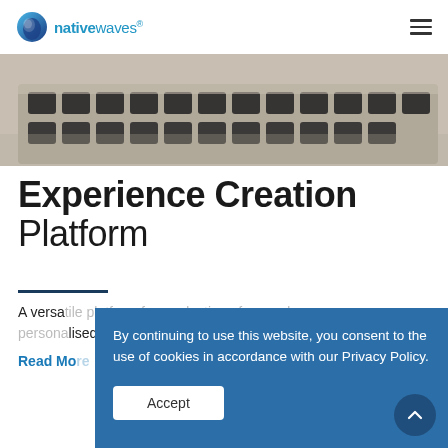nativewaves®
[Figure (photo): Close-up photo of laptop keyboard keys, black keys on silver keyboard, shallow depth of field]
Experience Creation Platform
A versatile platform for production of synced personalised experiences.
Read More →
By continuing to use this website, you consent to the use of cookies in accordance with our Privacy Policy.
Accept